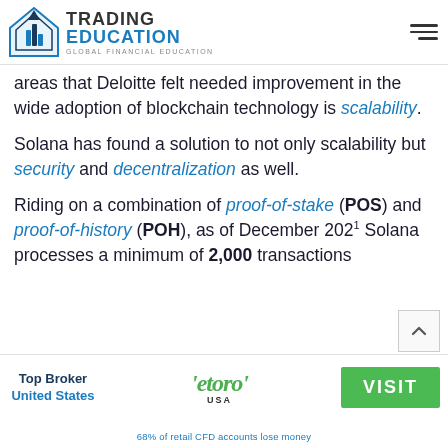Trading Education - Global Financial Education
areas that Deloitte felt needed improvement in the wide adoption of blockchain technology is scalability.
Solana has found a solution to not only scalability but security and decentralization as well.
Riding on a combination of proof-of-stake (POS) and proof-of-history (POH), as of December 2021 Solana processes a minimum of 2,000 transactions
[Figure (logo): eToro USA logo with green wordmark]
Top Broker United States
VISIT
68% of retail CFD accounts lose money